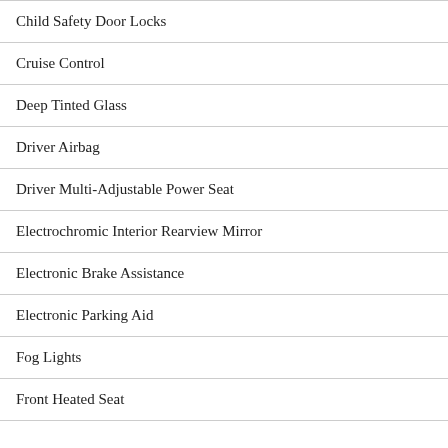Child Safety Door Locks
Cruise Control
Deep Tinted Glass
Driver Airbag
Driver Multi-Adjustable Power Seat
Electrochromic Interior Rearview Mirror
Electronic Brake Assistance
Electronic Parking Aid
Fog Lights
Front Heated Seat